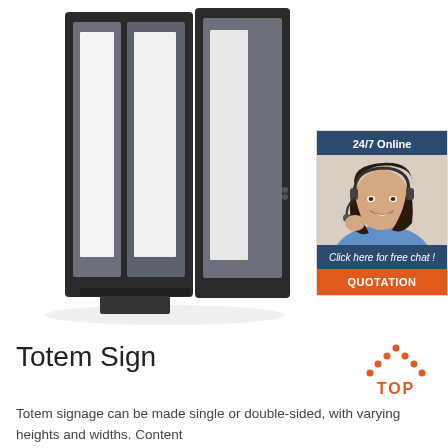[Figure (photo): Totem sign display — tall double-sided black-framed illuminated sign/kiosk with two panels. White illuminated areas visible through dark frames, shown on white background.]
[Figure (photo): Customer service representative — woman with dark hair wearing a headset and blue shirt, smiling. Part of a '24/7 Online' chat widget with dark blue header, orange QUOTATION button, and 'Click here for free chat!' call to action.]
Totem Sign
[Figure (logo): TOP logo — orange chevron/house shape made of dots above the word TOP in orange bold text]
Totem signage can be made single or double-sided, with varying heights and widths. Content